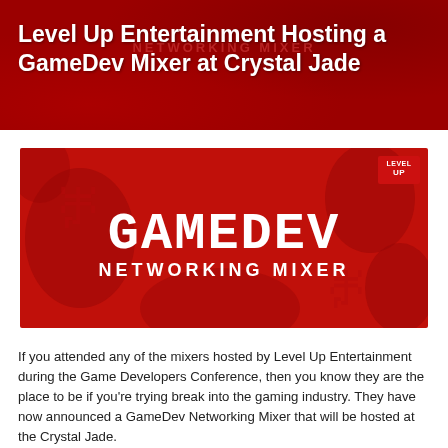Level Up Entertainment Hosting a GameDev Mixer at Crystal Jade
[Figure (illustration): Red banner with pixel-art style text reading GAMEDEV NETWORKING MIXER with Level Up logo in top right corner, on a dark red background with decorative pattern]
If you attended any of the mixers hosted by Level Up Entertainment during the Game Developers Conference, then you know they are the place to be if you're trying break into the gaming industry. They have now announced a GameDev Networking Mixer that will be hosted at the Crystal Jade.